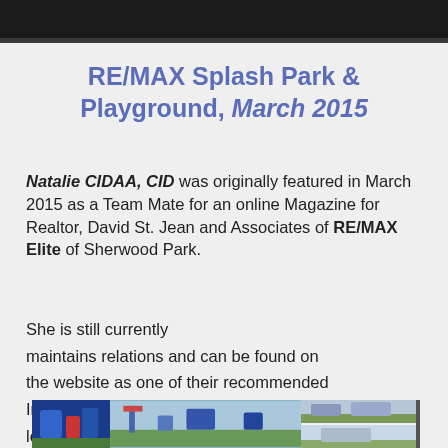RE/MAX Splash Park & Playground, March 2015
Natalie CIDAA, CID was originally featured in March 2015 as a Team Mate for an online Magazine for Realtor, David St. Jean and Associates of RE/MAX Elite of Sherwood Park.
She is still currently maintains relations and can be found on the website as one of their recommended Interior Designers/Home Stagers.They are located at 150 Chippewa Road Sherwood Park, AB T8A 6A2
[Figure (photo): Photos of RE/MAX Splash Park and Playground showing colorful playground equipment and park facilities.]